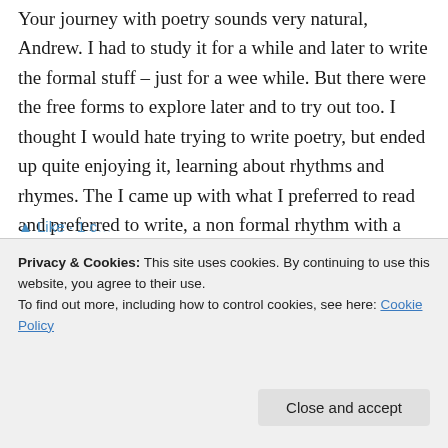Your journey with poetry sounds very natural, Andrew. I had to study it for a while and later to write the formal stuff – just for a wee while. But there were the free forms to explore later and to try out too. I thought I would hate trying to write poetry, but ended up quite enjoying it, learning about rhythms and rhymes. The I came up with what I preferred to read and preferred to write, a non formal rhythm with a non formal rhyme! Lovely post!
Privacy & Cookies: This site uses cookies. By continuing to use this website, you agree to their use. To find out more, including how to control cookies, see here: Cookie Policy